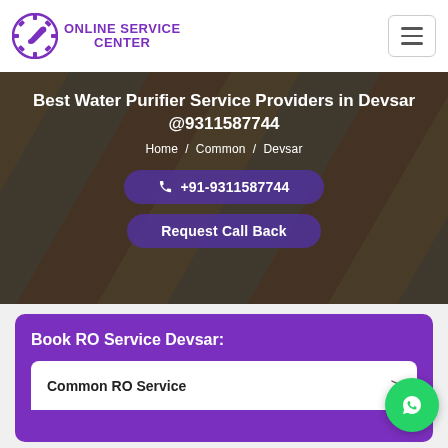[Figure (logo): Online Service Center logo with gear/wrench icon in purple]
Best Water Purifier Service Providers in Devsar @9311587744
Home / Common / Devsar
+91-9311587744
Request Call Back
Book RO Service Devsar:
Common RO Service